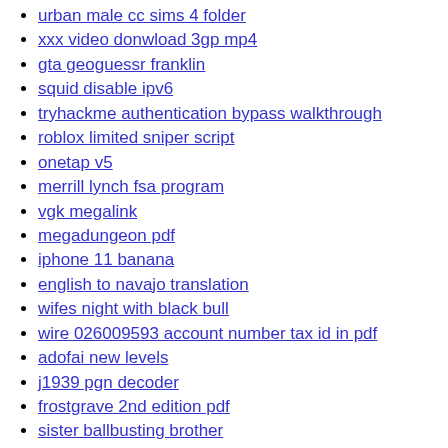urban male cc sims 4 folder
xxx video donwload 3gp mp4
gta geoguessr franklin
squid disable ipv6
tryhackme authentication bypass walkthrough
roblox limited sniper script
onetap v5
merrill lynch fsa program
vgk megalink
megadungeon pdf
iphone 11 banana
english to navajo translation
wifes night with black bull
wire 026009593 account number tax id in pdf
adofai new levels
j1939 pgn decoder
frostgrave 2nd edition pdf
sister ballbusting brother
black mail sex tube
what does prisoner type 08 mam awaiting trial mean
madfut melon 22
deaconess training manual pdf
think scripts for tos
firstchip flash drive repair
due to compatibility issues huawei pc manager cannot be